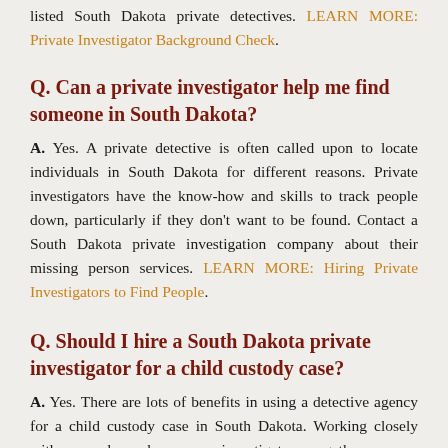listed South Dakota private detectives. LEARN MORE: Private Investigator Background Check.
Q. Can a private investigator help me find someone in South Dakota?
A. Yes. A private detective is often called upon to locate individuals in South Dakota for different reasons. Private investigators have the know-how and skills to track people down, particularly if they don't want to be found. Contact a South Dakota private investigation company about their missing person services. LEARN MORE: Hiring Private Investigators to Find People.
Q. Should I hire a South Dakota private investigator for a child custody case?
A. Yes. There are lots of benefits in using a detective agency for a child custody case in South Dakota. Working closely with you and your lawyers, an investigator can gather